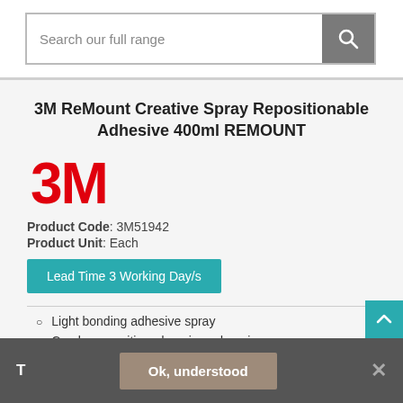Search our full range
3M ReMount Creative Spray Repositionable Adhesive 400ml REMOUNT
[Figure (logo): 3M red logo]
Product Code: 3M51942
Product Unit: Each
Lead Time 3 Working Day/s
Light bonding adhesive spray
Can be repositioned again and again
Ideal for collages, temporary notices or...
T  Ok, understood  ✕